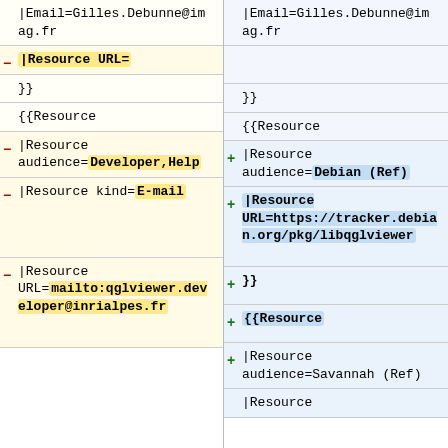| Left (old) | Right (new) |
| --- | --- |
| |Email=Gilles.Debunne@imag.fr | |Email=Gilles.Debunne@imag.fr |
| - |Resource URL= |  |
| }} | }} |
| {{Resource | {{Resource |
| - |Resource audience=Developer,Help | + |Resource audience=Debian (Ref) |
| - |Resource kind=E-mail | + |Resource URL=https://tracker.debian.org/pkg/libqglviewer |
| - |Resource URL=mailto:qglviewer.developer@inrialpes.fr | + }} |
|  | + {{Resource |
|  | + |Resource audience=Savannah (Ref) |
|  | |Resource |